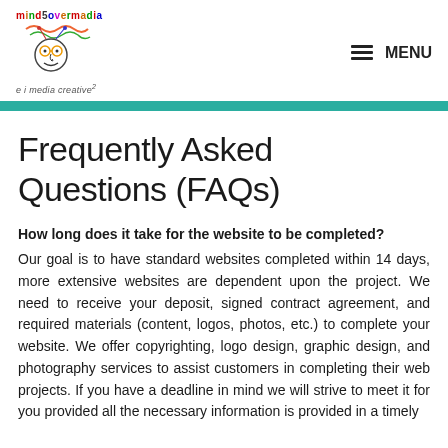mindovermadia — e i media creative² — MENU
Frequently Asked Questions (FAQs)
How long does it take for the website to be completed?
Our goal is to have standard websites completed within 14 days, more extensive websites are dependent upon the project. We need to receive your deposit, signed contract agreement, and required materials (content, logos, photos, etc.) to complete your website. We offer copyrighting, logo design, graphic design, and photography services to assist customers in completing their web projects. If you have a deadline in mind we will strive to meet it for you provided all the necessary information is provided in a timely